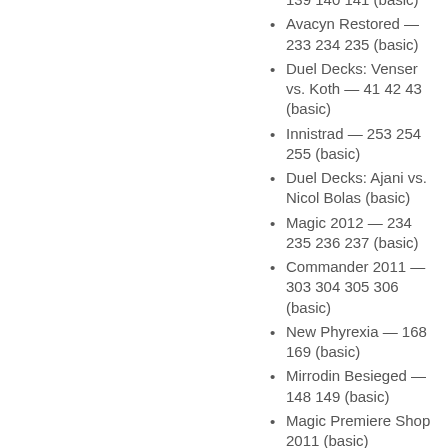139 140 141 (basic)
Avacyn Restored — 233 234 235 (basic)
Duel Decks: Venser vs. Koth — 41 42 43 (basic)
Innistrad — 253 254 255 (basic)
Duel Decks: Ajani vs. Nicol Bolas (basic)
Magic 2012 — 234 235 236 237 (basic)
Commander 2011 — 303 304 305 306 (basic)
New Phyrexia — 168 169 (basic)
Mirrodin Besieged — 148 149 (basic)
Magic Premiere Shop 2011 (basic)
Magic Online Theme Decks — A145 A146 A147 (basic)
Scars of Mirrodin — 234 235 236 237 (basic)